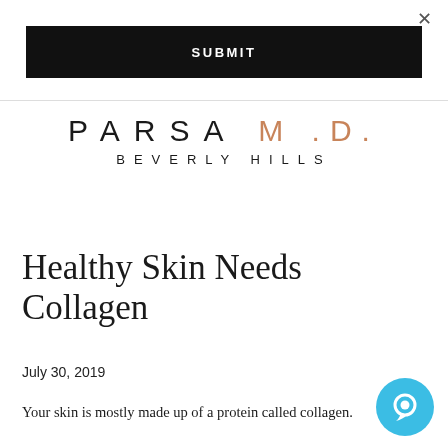×
SUBMIT
[Figure (logo): PARSA M.D. BEVERLY HILLS logo — PARSA in black, M.D. in copper/bronze, BEVERLY HILLS in smaller spaced black text below]
Healthy Skin Needs Collagen
July 30, 2019
Your skin is mostly made up of a protein called collagen.